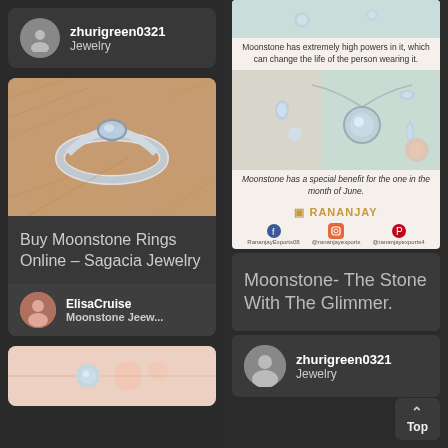[Figure (screenshot): Social media / Pinterest-style grid layout showing moonstone jewelry posts with user profiles]
zhurigreen0321
Jewelry
[Figure (photo): Close-up photo of a moonstone silver ring on a wooden surface]
Buy Moonstone Rings Online – Sagacia Jewelry
ElisaCruise
Moonstone Jeew...
[Figure (photo): Moonstone jewelry set including earrings and pendant on pink background]
Moonstone has extremely high powers in it, which can change the life of the person wearing it.
[Figure (photo): Rananjay Exports moonstone jewelry collection photo]
Moonstone has a special benefit for the one in the month of June.
RANANJAY
Moonstone- The Stone With The Glimmer.
zhurigreen0321
Jewelry
Top